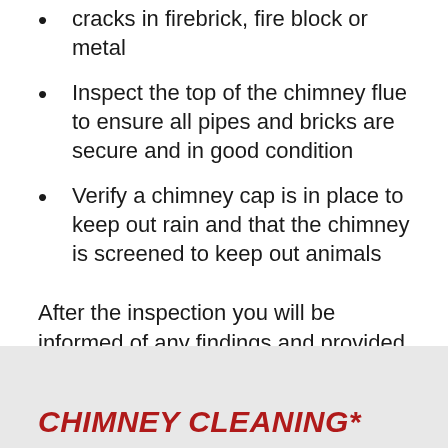cracks in firebrick, fire block or metal
Inspect the top of the chimney flue to ensure all pipes and bricks are secure and in good condition
Verify a chimney cap is in place to keep out rain and that the chimney is screened to keep out animals
After the inspection you will be informed of any findings and provided with a quote if repairs are required. Additionally, you may ask any questions you have pertaining to your fireplace.
CHIMNEY CLEANING*